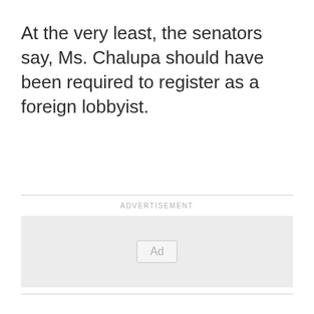At the very least, the senators say, Ms. Chalupa should have been required to register as a foreign lobbyist.
[Figure (other): Advertisement placeholder box with 'Ad' label in center]